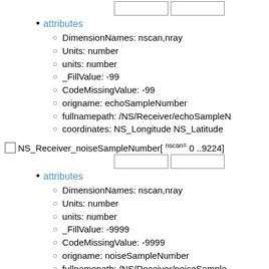attributes
DimensionNames: nscan,nray
Units: number
units: number
_FillValue: -99
CodeMissingValue: -99
origname: echoSampleNumber
fullnamepath: /NS/Receiver/echoSampleN...
coordinates: NS_Longitude NS_Latitude
NS_Receiver_noiseSampleNumber[ nscan= 0 ..9224]
attributes
DimensionNames: nscan,nray
Units: number
units: number
_FillValue: -9999
CodeMissingValue: -9999
origname: noiseSampleNumber
fullnamepath: /NS/Receiver/noiseSample...
coordinates: NS_Longitude NS_Latitude
NS_Receiver_rxAntGain[ nscan= 0 ..9224] [ nray= 0 ...